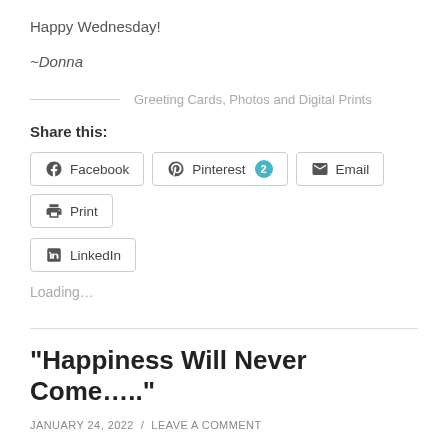Happy Wednesday!
~Donna
Greeting Cards, Photos and Digital Prints
Share this:
Facebook
Pinterest 2
Email
Print
LinkedIn
Loading...
“Happiness Will Never Come….”
JANUARY 24, 2022 / LEAVE A COMMENT